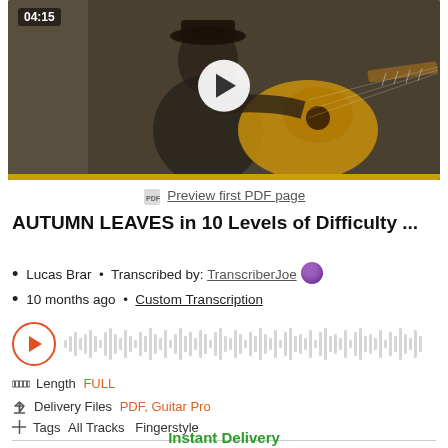[Figure (screenshot): Video thumbnail of a man playing classical guitar, duration 04:15, with play button overlay and yellow bottom bar]
Preview first PDF page
AUTUMN LEAVES in 10 Levels of Difficulty ...
Lucas Brar • Transcribed by: TranscriberJoe [avatar]
10 months ago • Custom Transcription
[Figure (other): Audio waveform player with orange circle play button and grey waveform graphic]
Length FULL
Delivery Files PDF, Guitar Pro
Tags All Tracks Fingerstyle
Instant Delivery